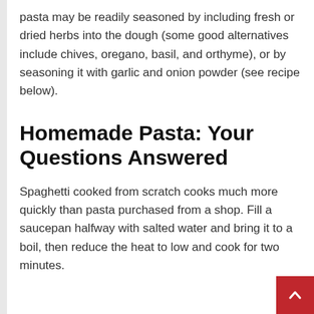pasta may be readily seasoned by including fresh or dried herbs into the dough (some good alternatives include chives, oregano, basil, and orthyme), or by seasoning it with garlic and onion powder (see recipe below).
Homemade Pasta: Your Questions Answered
Spaghetti cooked from scratch cooks much more quickly than pasta purchased from a shop. Fill a saucepan halfway with salted water and bring it to a boil, then reduce the heat to low and cook for two minutes.